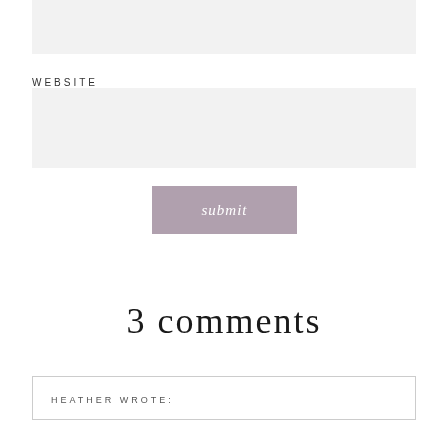[Figure (screenshot): Top input field box (light gray background, empty form field)]
WEBSITE
[Figure (screenshot): Website input field box (light gray background, empty form field)]
[Figure (screenshot): Submit button with mauve/dusty purple background and italic white 'submit' text]
3 comments
HEATHER WROTE: